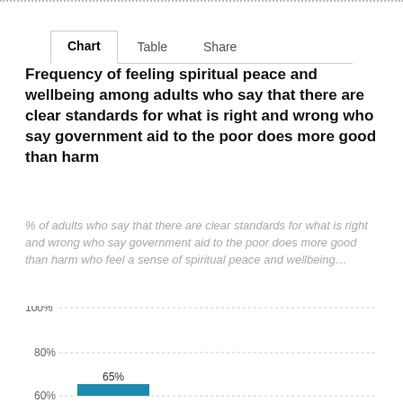[Figure (bar-chart): Frequency of feeling spiritual peace and wellbeing among adults who say that there are clear standards for what is right and wrong who say government aid to the poor does more good than harm]